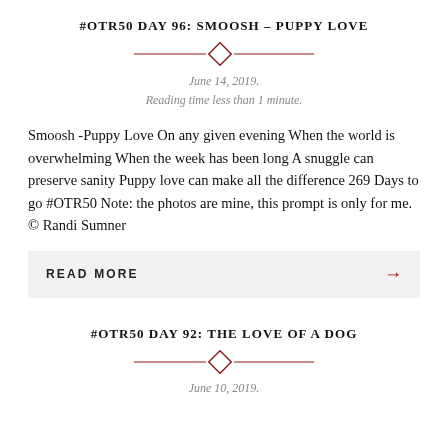#OTR50 DAY 96: SMOOSH – PUPPY LOVE
June 14, 2019.
Reading time less than 1 minute.
Smoosh -Puppy Love On any given evening When the world is overwhelming When the week has been long A snuggle can preserve sanity Puppy love can make all the difference 269 Days to go #OTR50 Note: the photos are mine, this prompt is only for me. © Randi Sumner
READ MORE →
#OTR50 DAY 92: THE LOVE OF A DOG
June 10, 2019.